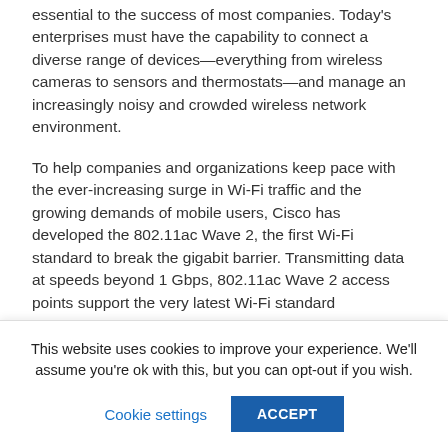essential to the success of most companies. Today's enterprises must have the capability to connect a diverse range of devices—everything from wireless cameras to sensors and thermostats—and manage an increasingly noisy and crowded wireless network environment.
To help companies and organizations keep pace with the ever-increasing surge in Wi-Fi traffic and the growing demands of mobile users, Cisco has developed the 802.11ac Wave 2, the first Wi-Fi standard to break the gigabit barrier. Transmitting data at speeds beyond 1 Gbps, 802.11ac Wave 2 access points support the very latest Wi-Fi standard
This website uses cookies to improve your experience. We'll assume you're ok with this, but you can opt-out if you wish.
Cookie settings | ACCEPT